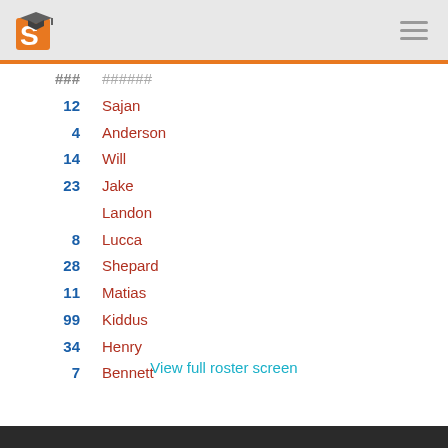S (logo) — navigation header
| # | Name |
| --- | --- |
| 12 | Sajan |
| 4 | Anderson |
| 14 | Will |
| 23 | Jake |
|  | Landon |
| 8 | Lucca |
| 28 | Shepard |
| 11 | Matias |
| 99 | Kiddus |
| 34 | Henry |
| 7 | Bennett |
| 15 | Kaden |
View full roster screen